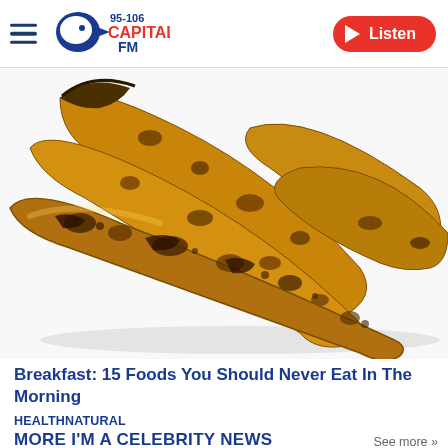Capital FM 95-106 | Listen
[Figure (photo): A bunch of overripe bananas with heavy brown/dark spotting, on a white background]
Breakfast: 15 Foods You Should Never Eat In The Morning
HEALTHNATURAL
MORE I'M A CELEBRITY NEWS